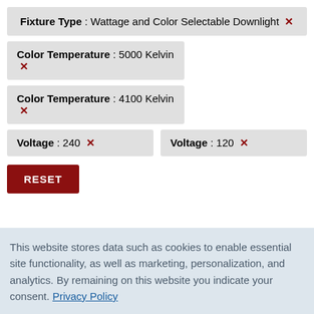Fixture Type : Wattage and Color Selectable Downlight ✕
Color Temperature : 5000 Kelvin ✕
Color Temperature : 4100 Kelvin ✕
Voltage : 240 ✕
Voltage : 120 ✕
RESET
This website stores data such as cookies to enable essential site functionality, as well as marketing, personalization, and analytics. By remaining on this website you indicate your consent. Privacy Policy